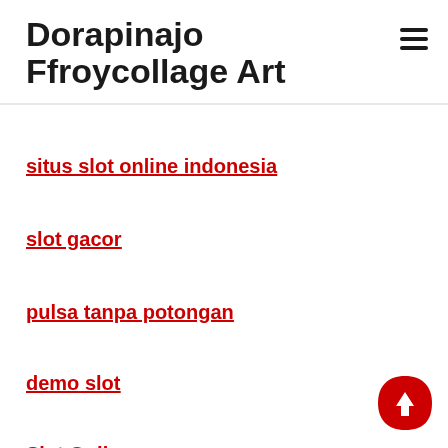Dorapinajo Ffroycollage Art
situs slot online indonesia
slot gacor
pulsa tanpa potongan
demo slot
Slot Online
slot88
[Figure (illustration): Red teardrop-shaped back-to-top button with white upward arrow]